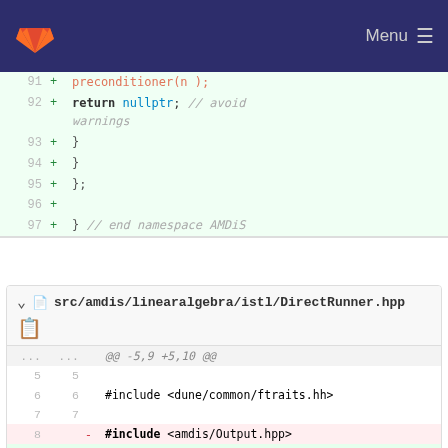GitLab — Menu
Code diff showing lines 92-97: return nullptr; // avoid warnings, }, }, };, , } // end namespace AMDiS
src/amdis/linearalgebra/istl/DirectRunner.hpp
@@ -5,9 +5,10 @@ diff showing #include lines 5-9 including removal of #include <amdis/Output.hpp> and addition of #include <amdis/linearalgebra/istl/Fwd.hpp>